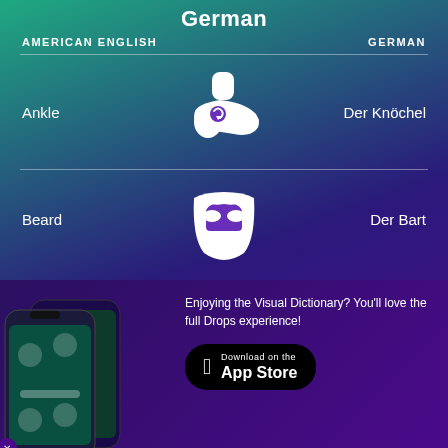German
| AMERICAN ENGLISH | GERMAN |
| --- | --- |
| Ankle | Der Knöchel |
| Beard | Der Bart |
[Figure (illustration): White icon of a foot/ankle]
[Figure (illustration): White icon of a beard]
[Figure (screenshot): Drops app phone screenshot]
Enjoying the Visual Dictionary? You'll love the full Drops experience!
[Figure (logo): Download on the App Store button]